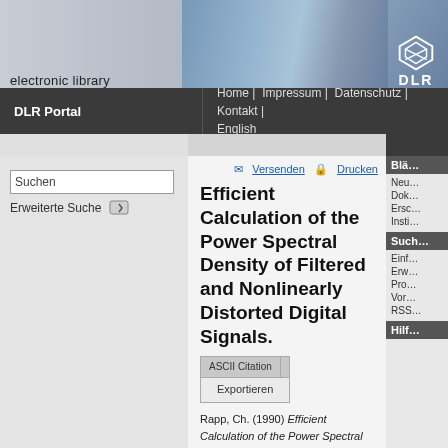electronic library | DLR
DLR Portal | Home | Impressum | Datenschutz | Kontakt | English
Suchen
Erweiterte Suche
Versenden  Drucken
Efficient Calculation of the Power Spectral Density of Filtered and Nonlinearly Distorted Digital Signals.
ASCII Citation
Exportieren
Rapp, Ch. (1990) Efficient Calculation of the Power Spectral Density of Filtered and Nonlinearly Distorted Digital Signals. In: Symposium Record 1990, ITS '90, Seiten 519-523. ITS 90, IEEE International Telecommunications Symposium, 3-6 September 1990, Rio de Janeiro, Brazil..
Dieses Archiv kann nicht den Volltext zur Verfügung stellen.